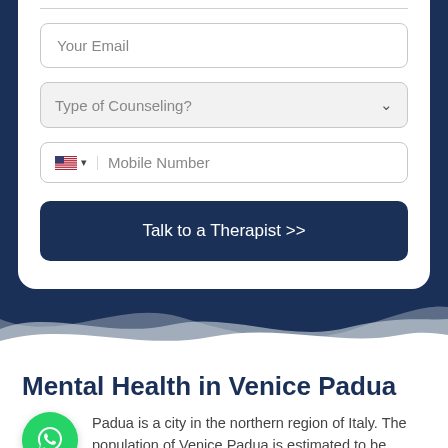[Figure (screenshot): Web form with email input, counseling type dropdown, mobile number field with US flag, and a 'Talk to a Therapist >>' button]
Mental Health in Venice Padua
Padua is a city in the northern region of Italy. The population of Venice Padua is estimated to be around 242,000